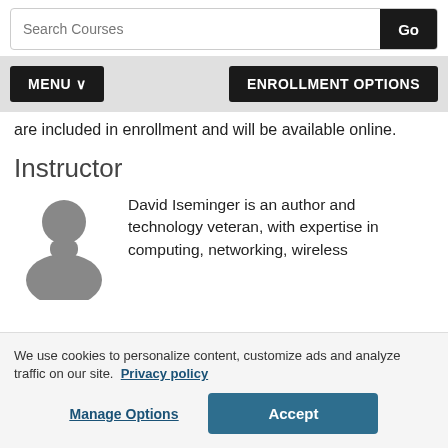Search Courses | Go
MENU  ENROLLMENT OPTIONS
are included in enrollment and will be available online.
Instructor
[Figure (illustration): Gray silhouette avatar of a person, representing the instructor profile image placeholder]
David Iseminger is an author and technology veteran, with expertise in computing, networking, wireless
We use cookies to personalize content, customize ads and analyze traffic on our site.  Privacy policy
Manage Options
Accept